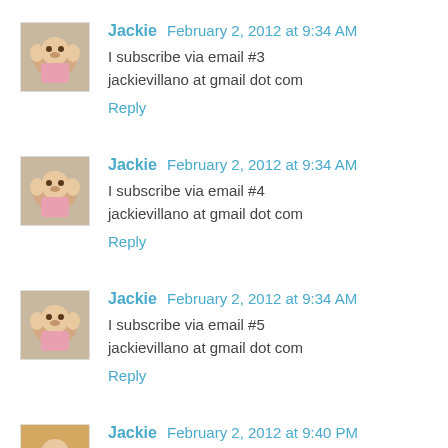[Figure (photo): Avatar image of Jackie - a small stuffed animal or doll photo]
Jackie  February 2, 2012 at 9:34 AM
I subscribe via email #3
jackievillano at gmail dot com
Reply
[Figure (photo): Avatar image of Jackie - a small stuffed animal or doll photo]
Jackie  February 2, 2012 at 9:34 AM
I subscribe via email #4
jackievillano at gmail dot com
Reply
[Figure (photo): Avatar image of Jackie - a small stuffed animal or doll photo]
Jackie  February 2, 2012 at 9:34 AM
I subscribe via email #5
jackievillano at gmail dot com
Reply
[Figure (photo): Partial avatar image at bottom - another Jackie comment starting]
Jackie  February 2, 2012 at 9:34 PM (partial)